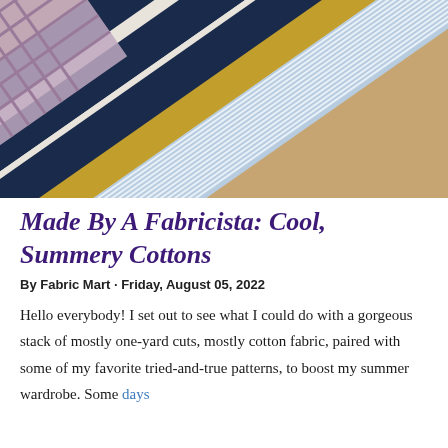[Figure (photo): Stacked folded fabrics on a wooden surface: top is navy and cream wide stripes, middle is mustard/olive solid, and bottom is light blue and white thin stripes.]
Made By A Fabricista: Cool, Summery Cottons
By Fabric Mart · Friday, August 05, 2022
Hello everybody! I set out to see what I could do with a gorgeous stack of mostly one-yard cuts, mostly cotton fabric, paired with some of my favorite tried-and-true patterns, to boost my summer wardrobe. Some days